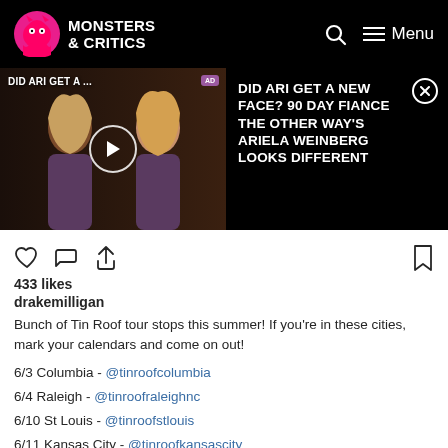MONSTERS & CRITICS
[Figure (screenshot): Video thumbnail showing a woman with blonde hair; text overlay reads 'DID ARI GET A ...' with a play button. Right side shows article title: 'DID ARI GET A NEW FACE? 90 DAY FIANCE THE OTHER WAY'S ARIELA WEINBERG LOOKS DIFFERENT']
433 likes
drakemilligan
Bunch of Tin Roof tour stops this summer! If you're in these cities, mark your calendars and come on out!
6/3 Columbia - @tinroofcolumbia
6/4 Raleigh - @tinroofraleighnc
6/10 St Louis - @tinroofstlouis
6/11 Kansas City - @tinroofkansascity
6/30 Lexington - @lextinroof
7/1 Indianapolis - @tinroofindy
7/2 Detroit - @tinroofdetroit